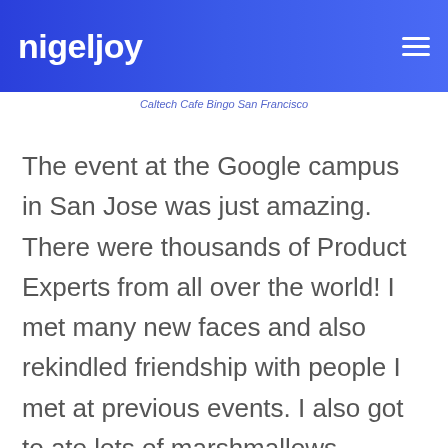nigeljoy
Caltech Cafe Bingo San Francisco
The event at the Google campus in San Jose was just amazing. There were thousands of Product Experts from all over the world! I met many new faces and also rekindled friendship with people I met at previous events. I also got to ate lots of marshmallows, m&m's and other American sweets which I had only heard of.